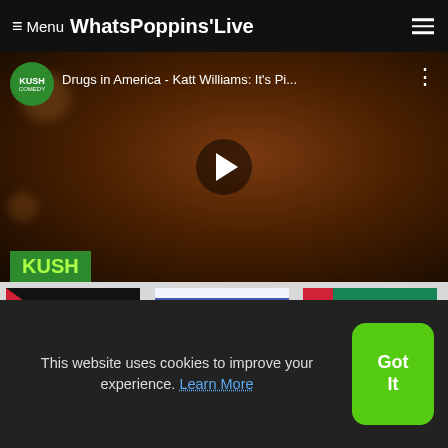≡ Menu WhatsPoppins'Live
[Figure (screenshot): Video thumbnail showing Katt Williams comedy special 'Drugs in America - Katt Williams: It's Pi...' with KUSH COMEDY channel badge, play button overlay, and KUSH logo in lower left corner]
[Figure (photo): Jordan flag thumbnail]
Jordan
[Figure (photo): Israel flag thumbnail]
Isreal
[Figure (photo): United Arab Emirates flag thumbnail]
United Arab Emirates
This website uses cookies to improve your experience. Learn More